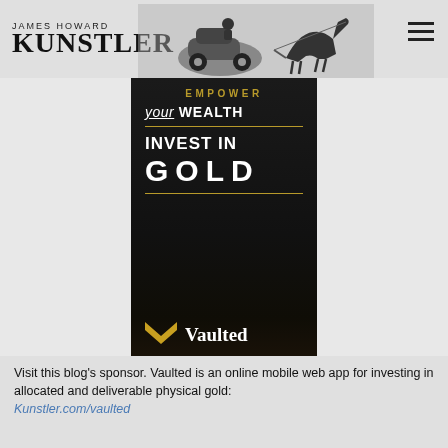JAMES HOWARD KUNSTLER
[Figure (illustration): Black and white illustration of a horse pulling a small car with a driver, website header graphic for James Howard Kunstler blog]
[Figure (advertisement): Vaulted gold investment advertisement: EMPOWER your WEALTH - INVEST IN GOLD - Vaulted logo with gold chevron]
Visit this blog's sponsor. Vaulted is an online mobile web app for investing in allocated and deliverable physical gold: Kunstler.com/vaulted